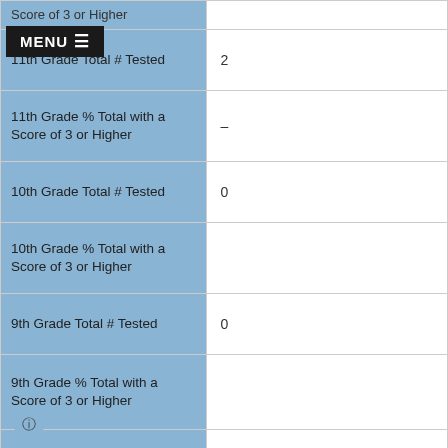| Label | Value |
| --- | --- |
| Score of 3 or Higher (cropped) |  |
| 11th Grade Total # Tested | 2 |
| 11th Grade % Total with a Score of 3 or Higher | – |
| 10th Grade Total # Tested | 0 |
| 10th Grade % Total with a Score of 3 or Higher |  |
| 9th Grade Total # Tested | 0 |
| 9th Grade % Total with a Score of 3 or Higher |  |
| Not HS Total # Tested | 0 |
| Not HS % Total with a Score of 3 or Higher |  |